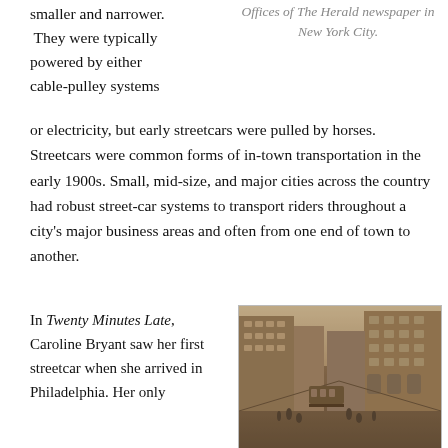smaller and narrower. They were typically powered by either cable-pulley systems or electricity, but early streetcars were pulled by horses. Streetcars were common forms of in-town transportation in the early 1900s. Small, mid-size, and major cities across the country had robust street-car systems to transport riders throughout a city's major business areas and often from one end of town to another.
Offices of The Herald newspaper in New York City.
In Twenty Minutes Late, Caroline Bryant saw her first streetcar when she arrived in Philadelphia. Her only
[Figure (photo): Sepia-toned historical photograph of a busy city street with streetcars, pedestrians, and large multi-story commercial buildings, likely early 1900s.]